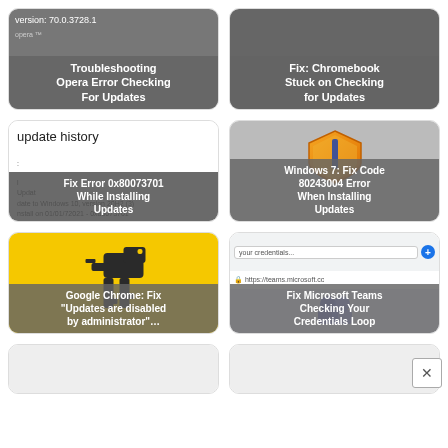[Figure (screenshot): Troubleshooting Opera Error Checking For Updates card with version 70.0.3728.1 shown]
[Figure (screenshot): Fix: Chromebook Stuck on Checking for Updates card]
[Figure (screenshot): Fix Error 0x80073701 While Installing Updates card showing Windows update history]
[Figure (screenshot): Windows 7: Fix Code 80243004 Error When Installing Updates card with shield icon]
[Figure (screenshot): Google Chrome: Fix Updates are disabled by administrator card with Chrome dino on yellow background]
[Figure (screenshot): Fix Microsoft Teams Checking Your Credentials Loop card showing browser with teams.microsoft.com]